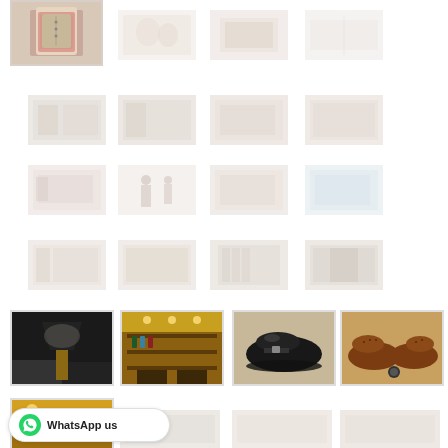[Figure (photo): Grid of fashion/clothing product thumbnails and interior/shoe photos. Top row has one prominent clothing image (man in vest) and three faded thumbnails. Middle rows have faded clothing thumbnails. Bottom rows show a lamp on table, bar/cafe interior, black monk-strap shoes, and brown brogue shoes. WhatsApp button overlay at bottom left.]
WhatsApp us